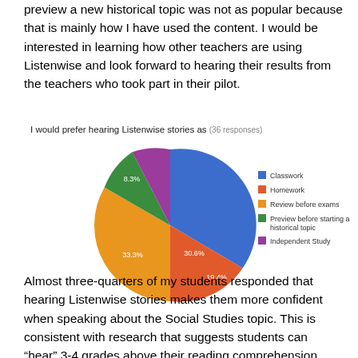preview a new historical topic was not as popular because that is mainly how I have used the content. I would be interested in learning how other teachers are using Listenwise and look forward to hearing their results from the teachers who took part in their pilot.
I would prefer hearing Listenwise stories as (36 responses)
[Figure (pie-chart): I would prefer hearing Listenwise stories as]
Almost three-quarters of my students responded that hearing Listenwise stories makes them more confident when speaking about the Social Studies topic. This is consistent with research that suggests students can “hear” 3-4 grades above their reading comprehension levels.